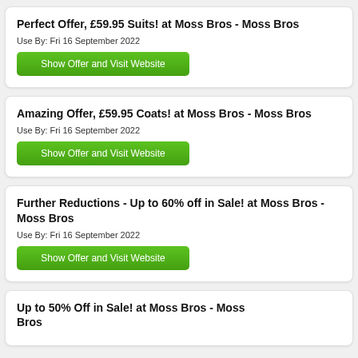Perfect Offer, £59.95 Suits! at Moss Bros - Moss Bros
Use By: Fri 16 September 2022
Show Offer and Visit Website
Amazing Offer, £59.95 Coats! at Moss Bros - Moss Bros
Use By: Fri 16 September 2022
Show Offer and Visit Website
Further Reductions - Up to 60% off in Sale! at Moss Bros - Moss Bros
Use By: Fri 16 September 2022
Show Offer and Visit Website
Up to 50% Off in Sale! at Moss Bros - Moss Bros